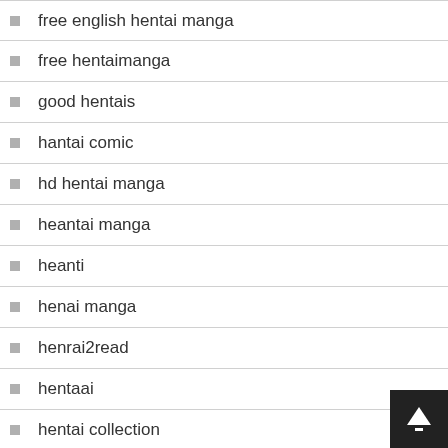free english hentai manga
free hentaimanga
good hentais
hantai comic
hd hentai manga
heantai manga
heanti
henai manga
henrai2read
hentaai
hentai collection